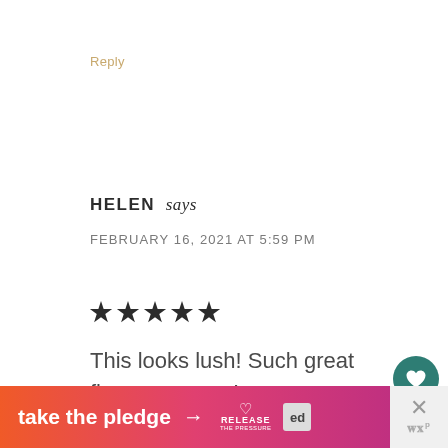Reply
HELEN says
FEBRUARY 16, 2021 AT 5:59 PM
★★★★★
This looks lush! Such great flavours – yum!
Reply
[Figure (infographic): Orange-to-pink gradient banner ad reading 'take the pledge →' with RELEASE logo and ed badge]